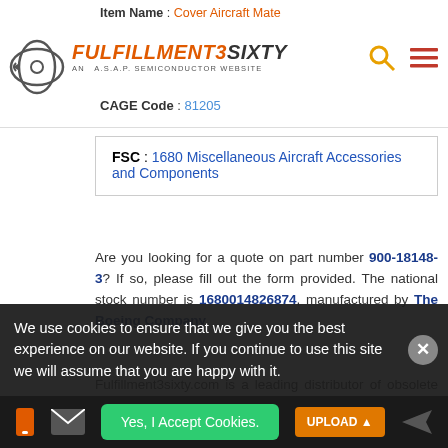Item Name: Cover Aircraft Mate | FULFILLMENT3SIXTY | AN A.S.A.P. SEMICONDUCTOR WEBSITE | CAGE Code: 81205
| Field | Value |
| --- | --- |
| FSC | 1680 Miscellaneous Aircraft Accessories and Components |
Are you looking for a quote on part number 900-18148-3? If so, please fill out the form provided. The national stock number is 1680014826874, manufactured by The Boeing Company.
Fulfillment3sixty.com is a leading distributor of obsolete and hard-to-find national stock numbers. Fulfillment3sixty.com is owned and operated by ASAP Semiconductor, an AS9120B, ISO 9001:2015 company. We stock a vast inventory of over 10 million parts which are
We use cookies to ensure that we give you the best experience on our website. If you continue to use this site we will assume that you are happy with it.